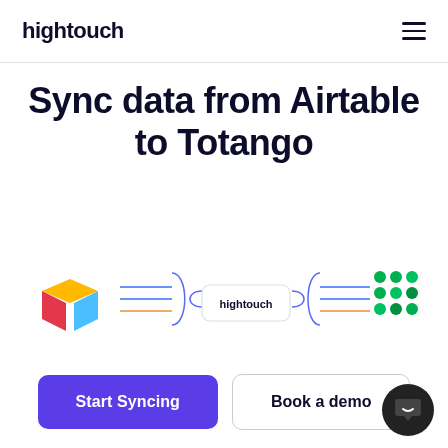hightouch
Sync data from Airtable to Totango
[Figure (infographic): Integration diagram showing Airtable logo on the left, flowing arrows through a central Hightouch box, then flowing arrows to a Totango logo grid on the right]
[Figure (other): Start Syncing button (purple) and Book a demo button (outlined)]